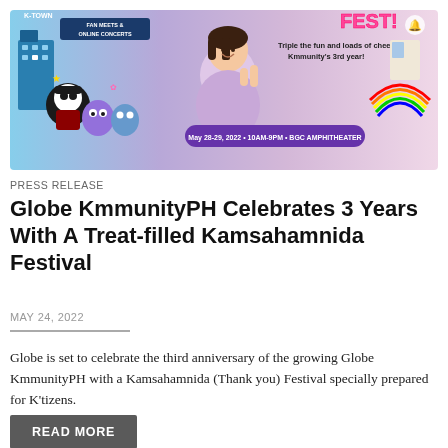[Figure (photo): Promotional banner for Globe KmmunityPH Kamsahamnida Fest event. Shows K-Town themed cartoon characters on left, a young woman in lavender hoodie doing finger heart gesture in center, colorful rainbow and room decor on right. Text overlay reads 'Triple the fun and loads of cheer on Kmmunity's 3rd year!' and 'May 28-29, 2022 • 10AM-9PM • BGC AMPHITHEATER'. Top text mentions 'FAN MEETS & ONLINE CONCERTS'.]
PRESS RELEASE
Globe KmmunityPH Celebrates 3 Years With A Treat-filled Kamsahamnida Festival
MAY 24, 2022
Globe is set to celebrate the third anniversary of the growing Globe KmmunityPH with a Kamsahamnida (Thank you) Festival specially prepared for K'tizens.
READ MORE